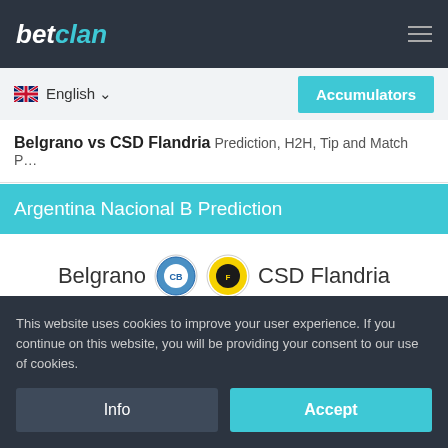betclan
English
Accumulators
Belgrano vs CSD Flandria Prediction, H2H, Tip and Match P…
Argentina Nacional B Prediction
Belgrano   CSD Flandria
Date 2022-05-21 01:10
[Figure (logo): Betway logo text partially visible at bottom]
This website uses cookies to improve your user experience. If you continue on this website, you will be providing your consent to our use of cookies.
Info
Accept